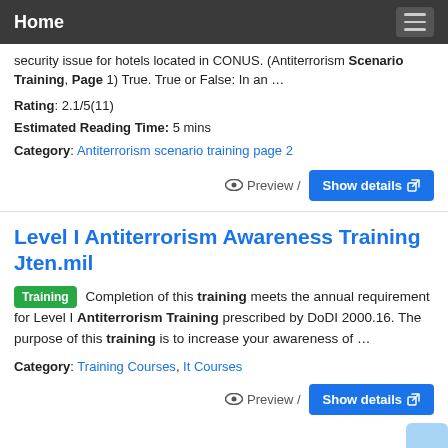Home
security issue for hotels located in CONUS. (Antiterrorism Scenario Training, Page 1) True. True or False: In an …
Rating: 2.1/5(11)
Estimated Reading Time: 5 mins
Category: Antiterrorism scenario training page 2
Level I Antiterrorism Awareness Training Jten.mil
Training Completion of this training meets the annual requirement for Level I Antiterrorism Training prescribed by DoDI 2000.16. The purpose of this training is to increase your awareness of …
Category: Training Courses, It Courses